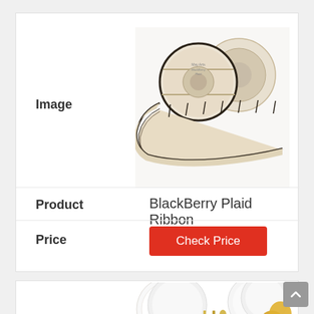[Figure (photo): Two spools of BlackBerry Plaid Ribbon with ribbon unrolled, showing a tan/beige and black plaid pattern]
Image
Product
BlackBerry Plaid Ribbon
Price
Check Price
[Figure (photo): White and gold party supply set including plates, napkins, cutlery, and gold balloons]
Image